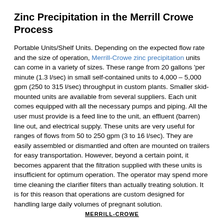Zinc Precipitation in the Merrill Crowe Process
Portable Units/Shelf Units. Depending on the expected flow rate and the size of operation, Merrill-Crowe zinc precipitation units can come in a variety of sizes. These range from 20 gallons per minute (1.3 l/sec) in small self-contained units to 4,000 – 5,000 gpm (250 to 315 l/sec) throughput in custom plants. Smaller skid-mounted units are available from several suppliers. Each unit comes equipped with all the necessary pumps and piping. All the user must provide is a feed line to the unit, an effluent (barren) line out, and electrical supply. These units are very useful for ranges of flows from 50 to 250 gpm (3 to 16 l/sec). They are easily assembled or dismantled and often are mounted on trailers for easy transportation. However, beyond a certain point, it becomes apparent that the filtration supplied with these units is insufficient for optimum operation. The operator may spend more time cleaning the clarifier filters than actually treating solution. It is for this reason that operations are custom designed for handling large daily volumes of pregnant solution.
MERRILL-CROWE